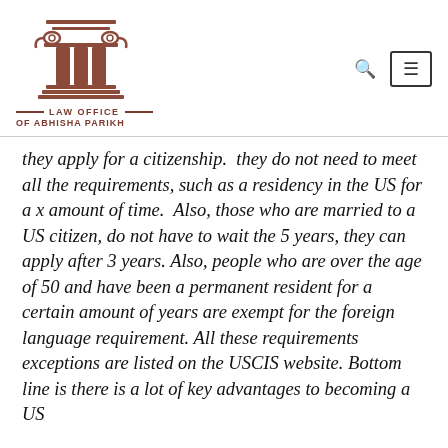[Figure (logo): Law Office of Abhisha Parikh logo with column icon and text]
they apply for a citizenship.  they do not need to meet all the requirements, such as a residency in the US for a x amount of time.  Also, those who are married to a US citizen, do not have to wait the 5 years, they can apply after 3 years. Also, people who are over the age of 50 and have been a permanent resident for a certain amount of years are exempt for the foreign language requirement. All these requirements  exceptions are listed on the USCIS website. Bottom line is there is a lot of key advantages to becoming a US